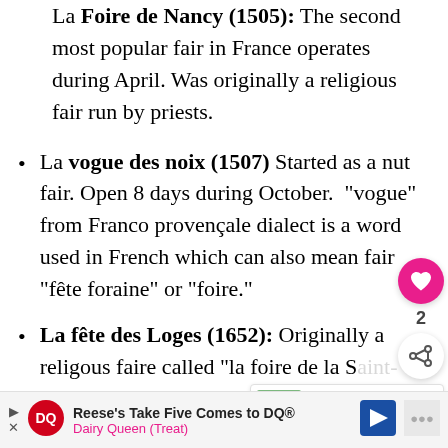La Foire de Nancy (1505): The second most popular fair in France operates during April. Was originally a religious fair run by priests.
La vogue des noix (1507) Started as a nut fair. Open 8 days during October. “vogue” from Franco provençale dialect is a word used in French which can also mean fair “fête foraine” or “foire.”
La fête des Loges (1652): Originally a religous faire called “la foire de la Saint-Fiacre” on the grounds of an old hunting loge just outside of Paris. Open June to
[Figure (infographic): Heart/like button (pink circle with heart icon) showing count 2, and share button below it, floating UI elements on right side]
[Figure (infographic): What's Next widget showing Weather in France thumbnail with label and title text]
[Figure (infographic): Dairy Queen advertisement banner: Reese's Take Five Comes to DQ, Dairy Queen (Treat) with DQ logo and navigation arrow icon]